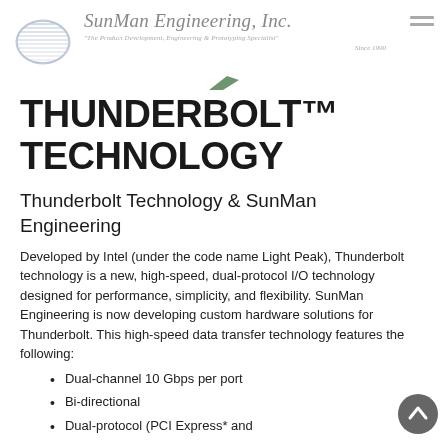SunMan Engineering, Inc. "The Product Development, Engineering & Prototyping Specialist" Since 1990
THUNDERBOLT™ TECHNOLOGY
Thunderbolt Technology & SunMan Engineering
Developed by Intel (under the code name Light Peak), Thunderbolt technology is a new, high-speed, dual-protocol I/O technology designed for performance, simplicity, and flexibility. SunMan Engineering is now developing custom hardware solutions for Thunderbolt. This high-speed data transfer technology features the following:
Dual-channel 10 Gbps per port
Bi-directional
Dual-protocol (PCI Express* and